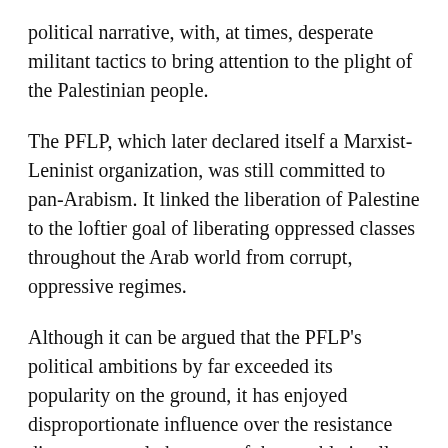political narrative, with, at times, desperate militant tactics to bring attention to the plight of the Palestinian people.
The PFLP, which later declared itself a Marxist-Leninist organization, was still committed to pan-Arabism. It linked the liberation of Palestine to the loftier goal of liberating oppressed classes throughout the Arab world from corrupt, oppressive regimes.
Although it can be argued that the PFLP's political ambitions by far exceeded its popularity on the ground, it has enjoyed disproportionate influence over the resistance discourse, partly because of the notable intellect and foresight of its founder, but also because of its early attempts at armed struggle outside the confines of Arab governments.
Although the PFLP is often referenced in international media for its aircraft hijackings, mostly to free Palestinian political prisoners, its impact on